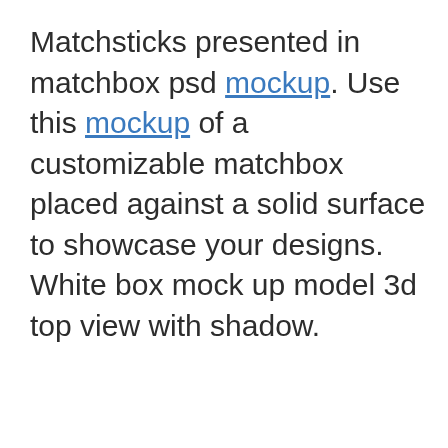Matchsticks presented in matchbox psd mockup. Use this mockup of a customizable matchbox placed against a solid surface to showcase your designs. White box mock up model 3d top view with shadow.